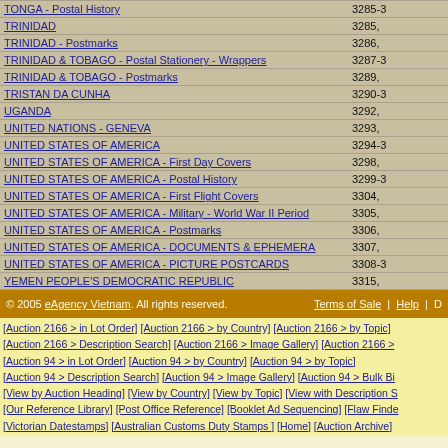| Category | Lot# |
| --- | --- |
| TONGA - Postal History | 3285-3 |
| TRINIDAD | 3285, |
| TRINIDAD - Postmarks | 3286, |
| TRINIDAD & TOBAGO - Postal Stationery - Wrappers | 3287-3 |
| TRINIDAD & TOBAGO - Postmarks | 3289, |
| TRISTAN DA CUNHA | 3290-3 |
| UGANDA | 3292, |
| UNITED NATIONS - GENEVA | 3293, |
| UNITED STATES OF AMERICA | 3294-3 |
| UNITED STATES OF AMERICA - First Day Covers | 3298, |
| UNITED STATES OF AMERICA - Postal History | 3299-3 |
| UNITED STATES OF AMERICA - First Flight Covers | 3304, |
| UNITED STATES OF AMERICA - Military - World War II Period | 3305, |
| UNITED STATES OF AMERICA - Postmarks | 3306, |
| UNITED STATES OF AMERICA - DOCUMENTS & EPHEMERA | 3307, |
| UNITED STATES OF AMERICA - PICTURE POSTCARDS | 3308-3 |
| YEMEN PEOPLE'S DEMOCRATIC REPUBLIC | 3315, |
© 2005 eAgency Vietnam. All rights reserved. | Terms of Sale | Help | D
[Auction 2166 > in Lot Order] [Auction 2166 > by Country] [Auction 2166 > by Topic] [Auction 2166 > Description Search] [Auction 2166 > Image Gallery] [Auction 2166 > [Auction 94 > in Lot Order] [Auction 94 > by Country] [Auction 94 > by Topic] [Auction 94 > Description Search] [Auction 94 > Image Gallery] [Auction 94 > Bulk Bi [View by Auction Heading] [View by Country] [View by Topic] [View with Description S [Our Reference Library] [Post Office Reference] [Booklet Ad Sequencing] [Flaw Finde [Victorian Datestamps] [Australian Customs Duty Stamps ] [Home] [Auction Archive]